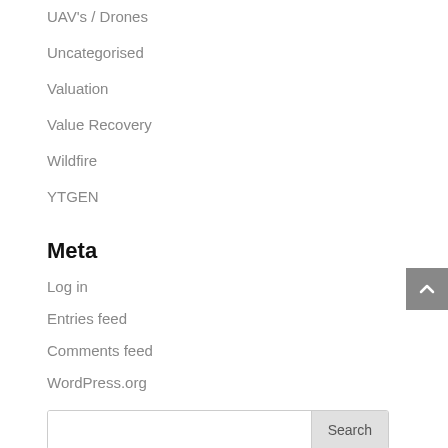UAV's / Drones
Uncategorised
Valuation
Value Recovery
Wildfire
YTGEN
Meta
Log in
Entries feed
Comments feed
WordPress.org